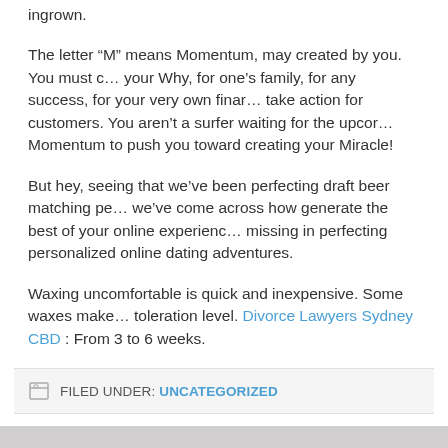ingrown.
The letter “M” means Momentum, may created by you. You must create your Why, for one’s family, for any success, for your very own financial freedom, take action for customers. You aren’t a surfer waiting for the upcoming wave. Momentum to push you toward creating your Miracle!
But hey, seeing that we’ve been perfecting draft beer matching people, we’ve come across how generate the best of your online experience. missing in perfecting personalized online dating adventures.
Waxing uncomfortable is quick and inexpensive. Some waxes make toleration level. Divorce Lawyers Sydney CBD : From 3 to 6 weeks.
FILED UNDER: UNCATEGORIZED
Return to top of page